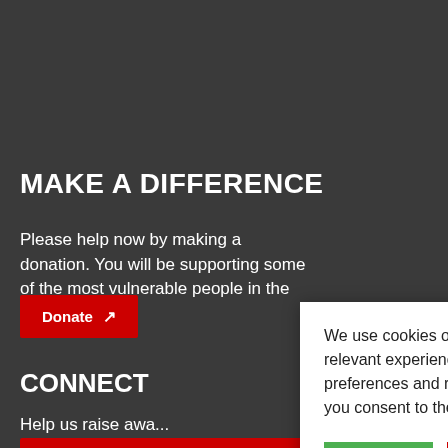MAKE A DIFFERENCE
Please help now by making a donation. You will be supporting some of the most vulnerable people in the world.
Donate
CONNECT
Help us raise awa...
Donate no...
We use cookies on our website to give you the most relevant experience by remembering your preferences and repeat visits. By clicking “Accept”, you consent to the use of ALL the cookies.
ACCEPT
REJECT
Cookie settings